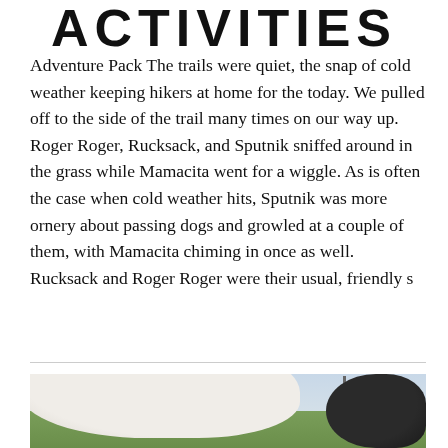ACTIVITIES
Adventure Pack The trails were quiet, the snap of cold weather keeping hikers at home for the today. We pulled off to the side of the trail many times on our way up. Roger Roger, Rucksack, and Sputnik sniffed around in the grass while Mamacita went for a wiggle. As is often the case when cold weather hits, Sputnik was more ornery about passing dogs and growled at a couple of them, with Mamacita chiming in once as well. Rucksack and Roger Roger were their usual, friendly s
[Figure (photo): Outdoor photo showing dogs on a trail or field, with a white dog in foreground and a dark dog at right edge, green fields and trees visible in background under an overcast sky.]